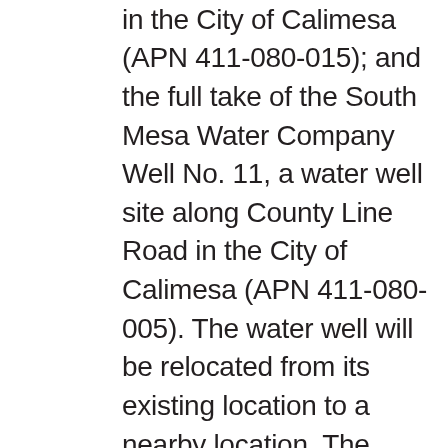at 323 County Line Road in the City of Calimesa (APN 411-080-015); and the full take of the South Mesa Water Company Well No. 11, a water well site along County Line Road in the City of Calimesa (APN 411-080-005). The water well will be relocated from its existing location to a nearby location. The acquisitions proposed would be used for public right-of-way improvements such as roadways, drainage, gutter, and/or sidewalk features. Easement and property takes will be acquired by each City,